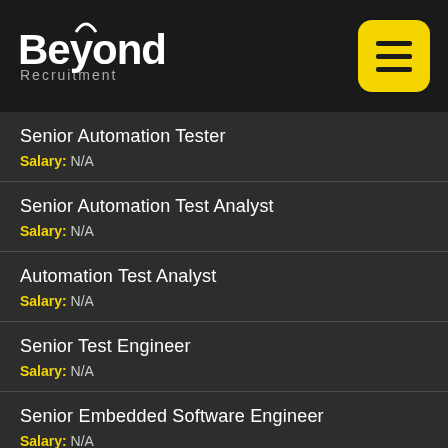[Figure (logo): Beyond Recruitment logo — white bold text 'Beyond' with grey 'Recruitment' below, on dark background. Yellow rounded square menu icon top right.]
Senior Automation Tester
Salary: N/A
Senior Automation Test Analyst
Salary: N/A
Automation Test Analyst
Salary: N/A
Senior Test Engineer
Salary: N/A
Senior Embedded Software Engineer
Salary: N/A
Senior Developer
Salary: N/A